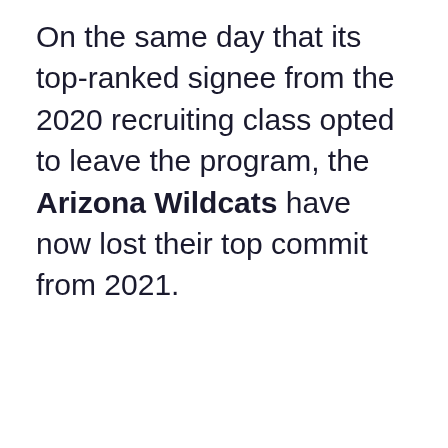On the same day that its top-ranked signee from the 2020 recruiting class opted to leave the program, the Arizona Wildcats have now lost their top commit from 2021.